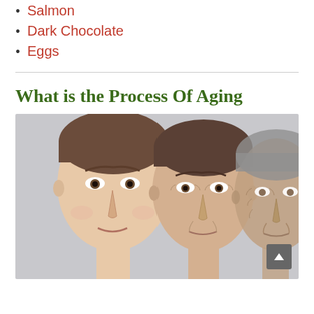Salmon
Dark Chocolate
Eggs
What is the Process Of Aging
[Figure (photo): Three women showing different stages of aging side by side, from young to old, against a gray background]